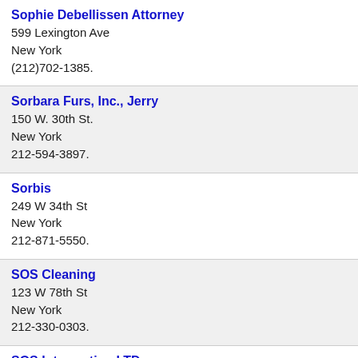Sophie Debellissen Attorney
599 Lexington Ave
New York
(212)702-1385.
Sorbara Furs, Inc., Jerry
150 W. 30th St.
New York
212-594-3897.
Sorbis
249 W 34th St
New York
212-871-5550.
SOS Cleaning
123 W 78th St
New York
212-330-0303.
SOS Interpreting LTD
99 Wall St # 18
New York
212-742-2410.